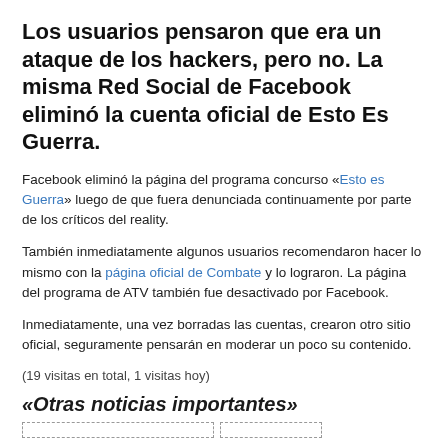Los usuarios pensaron que era un ataque de los hackers, pero no. La misma Red Social de Facebook eliminó la cuenta oficial de Esto Es Guerra.
Facebook eliminó la página del programa concurso «Esto es Guerra» luego de que fuera denunciada continuamente por parte de los críticos del reality.
También inmediatamente algunos usuarios recomendaron hacer lo mismo con la página oficial de Combate y lo lograron. La página del programa de ATV también fue desactivado por Facebook.
Inmediatamente, una vez borradas las cuentas, crearon otro sitio oficial, seguramente pensarán en moderar un poco su contenido.
(19 visitas en total, 1 visitas hoy)
«Otras noticias importantes»